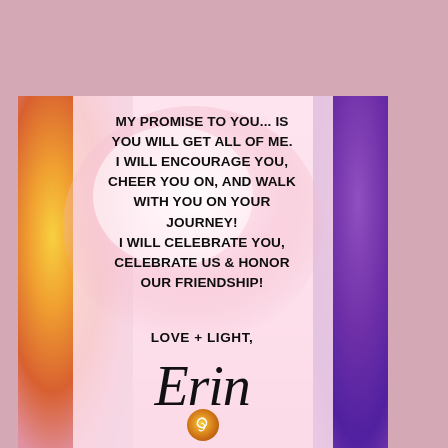[Figure (illustration): Greeting card with colorful floral/feather background (sunflower orange-gold on left, purple feathers on right, white-pink glow in center) on a dusty rose background]
MY PROMISE TO YOU... IS YOU WILL GET ALL OF ME. I WILL ENCOURAGE YOU, CHEER YOU ON, AND WALK WITH YOU ON YOUR JOURNEY! I WILL CELEBRATE YOU, CELEBRATE US & HONOR OUR FRIENDSHIP!
LOVE + LIGHT,
Erin